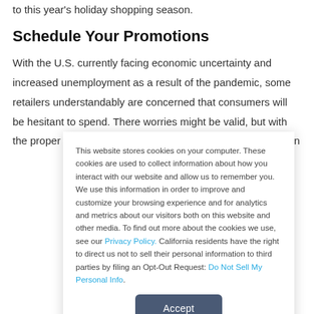to this year's holiday shopping season.
Schedule Your Promotions
With the U.S. currently facing economic uncertainty and increased unemployment as a result of the pandemic, some retailers understandably are concerned that consumers will be hesitant to spend. There worries might be valid, but with the proper promotional schedule and strategy, companies can
This website stores cookies on your computer. These cookies are used to collect information about how you interact with our website and allow us to remember you. We use this information in order to improve and customize your browsing experience and for analytics and metrics about our visitors both on this website and other media. To find out more about the cookies we use, see our Privacy Policy. California residents have the right to direct us not to sell their personal information to third parties by filing an Opt-Out Request: Do Not Sell My Personal Info.
Accept